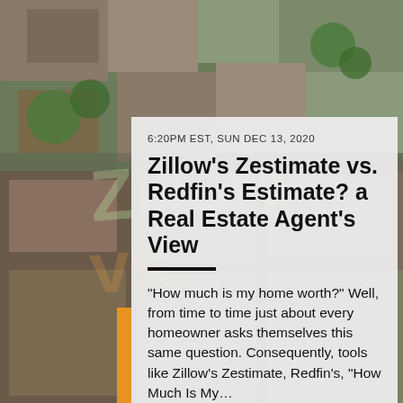[Figure (photo): Aerial view of a residential neighborhood with houses and trees, used as background image]
6:20PM EST, SUN DEC 13, 2020
Zillow's Zestimate vs. Redfin's Estimate? a Real Estate Agent's View
“How much is my home worth?” Well, from time to time just about every homeowner asks themselves this same question. Consequently, tools like Zillow’s Zestimate, Redfin’s, “How Much Is My…